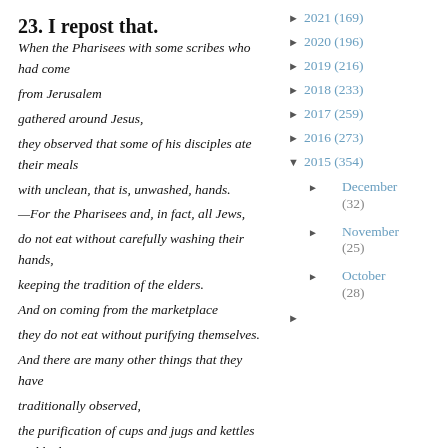23.  I repost that.
When the Pharisees with some scribes who had come from Jerusalem
gathered around Jesus,
they observed that some of his disciples ate their meals with unclean, that is, unwashed, hands.
—For the Pharisees and, in fact, all Jews,
do not eat without carefully washing their hands,
keeping the tradition of the elders.
And on coming from the marketplace
they do not eat without purifying themselves.
And there are many other things that they have traditionally observed,
the purification of cups and jugs and kettles and beds.
—
So the Pharisees and scribes questioned him,
"Why do your disciples not follow the tradition of the
► 2021 (169)
► 2020 (196)
► 2019 (216)
► 2018 (233)
► 2017 (259)
► 2016 (273)
▼ 2015 (354)
► December (32)
► November (25)
► October (28)
►